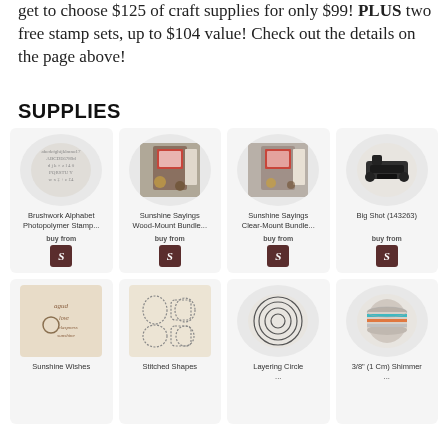get to choose $125 of craft supplies for only $99! PLUS two free stamp sets, up to $104 value! Check out the details on the page above!
SUPPLIES
[Figure (illustration): Grid of craft supply product cards, each with product image, name, 'buy from' text and store logo. Row 1: Brushwork Alphabet Photopolymer Stamp..., Sunshine Sayings Wood-Mount Bundle..., Sunshine Sayings Clear-Mount Bundle..., Big Shot (143263). Row 2: Sunshine Wishes, Stitched Shapes, Layering Circle..., 3/8' (1 Cm) Shimmer...]